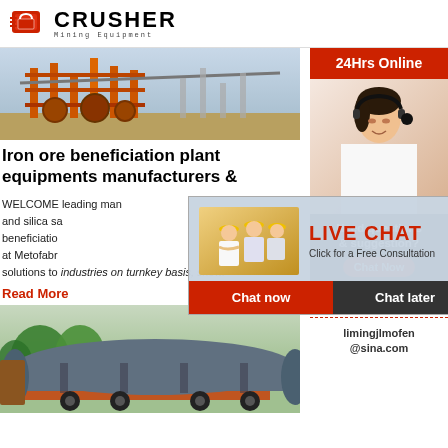CRUSHER Mining Equipment
[Figure (photo): Iron ore beneficiation plant equipment — industrial machinery with orange structural framework]
Iron ore beneficiation plant equipments manufacturers &
WELCOME leading manufacturers and silica sand beneficiation at Metofabr solutions to industries on turnkey basis, show.
Read More
[Figure (photo): Large industrial cylindrical mill/drum on a truck, green trees in background]
[Figure (infographic): Live Chat overlay with workers in yellow hard hats, red LIVE CHAT text, Chat now and Chat later buttons]
[Figure (photo): Sidebar: 24Hrs Online banner, customer service representative with headset]
Need questions & suggestion?
Chat Now
Enquiry
limingjlmofen@sina.com